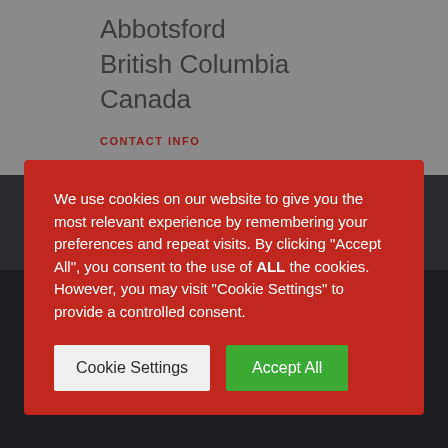Abbotsford
British Columbia
Canada
CONTACT INFO
We use cookies on our website to give you the most relevant experience by remembering your preferences and repeat visits. By clicking “Accept All”, you consent to the use of ALL the cookies. However, you may visit "Cookie Settings" to provide a controlled consent.
Cookie Settings   Accept All
keep in touch
Join our mailing list to stay up to date with news and